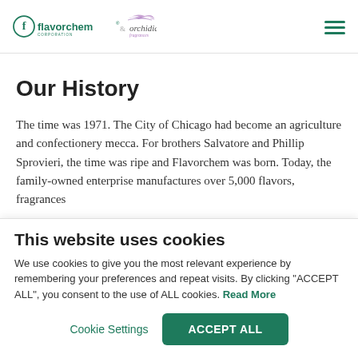[Figure (logo): Flavorchem and Orchidia Fragrances logo with hamburger menu icon]
Our History
The time was 1971. The City of Chicago had become an agriculture and confectionery mecca. For brothers Salvatore and Phillip Sprovieri, the time was ripe and Flavorchem was born. Today, the family-owned enterprise manufactures over 5,000 flavors, fragrances
This website uses cookies
We use cookies to give you the most relevant experience by remembering your preferences and repeat visits. By clicking "ACCEPT ALL", you consent to the use of ALL cookies. Read More
Cookie Settings    ACCEPT ALL